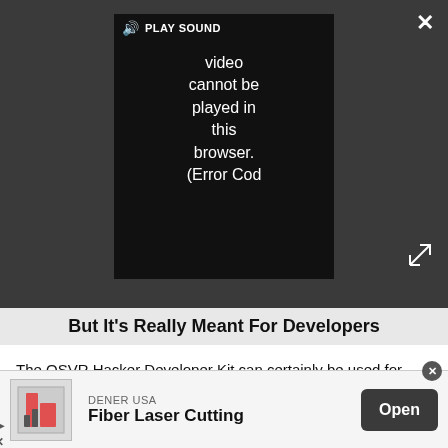[Figure (screenshot): Video player embedded in a dark gray browser overlay. Shows a black video frame with text: 'PLAY SOUND video cannot be played in this browser. (Error Cod' and a speaker/volume icon. Has a close (X) button top-right and an expand button bottom-right.]
But It’s Really Meant For Developers
The OSVR Hacker Developer Kit can certainly be used for entertainment, but that’s not really what it’s for. The kit is intended for developers who want to make content for the OSVR ecosystem. There will be future HMDs that piggyback off of what Razer is doing with the HDK, and those will likely be better suited to gamers, though Razer is supporting the HDK as a consumer product.
[Figure (screenshot): Advertisement banner at bottom: DENER USA company name, product 'Fiber Laser Cutting', with an Open button and a small product image with play/close controls.]